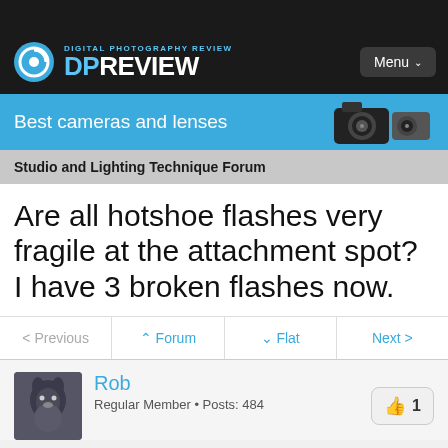DIGITAL PHOTOGRAPHY REVIEW DPREVIEW | Menu
[Figure (screenshot): Blue banner with text 'Best cameras and lenses' and camera images on the right]
Studio and Lighting Technique Forum
Are all hotshoe flashes very fragile at the attachment spot? I have 3 broken flashes now.
Previous | Forum | Flat | Next
Rob
Regular Member • Posts: 484
1
Are all hotshoe flashes very fragile at the